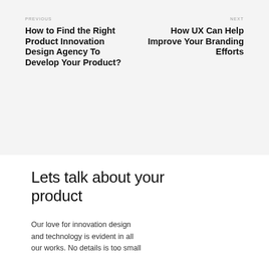PREVIOUS
NEXT
How to Find the Right Product Innovation Design Agency To Develop Your Product?
How UX Can Help Improve Your Branding Efforts
Lets talk about your product
Our love for innovation design and technology is evident in all our works. No details is too small